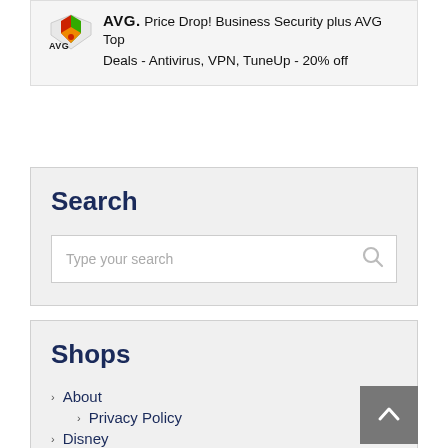[Figure (other): AVG antivirus logo with colorful shield icon]
Price Drop! Business Security plus AVG Top Deals - Antivirus, VPN, TuneUp - 20% off
Search
Type your search
Shops
About
Privacy Policy
Disney